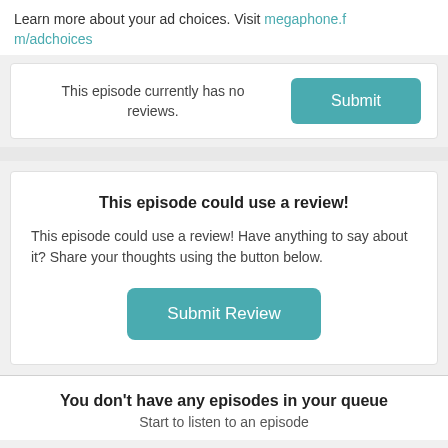Learn more about your ad choices. Visit megaphone.fm/adchoices
This episode currently has no reviews.
Submit
This episode could use a review!
This episode could use a review! Have anything to say about it? Share your thoughts using the button below.
Submit Review
You don't have any episodes in your queue
Start to listen to an episode